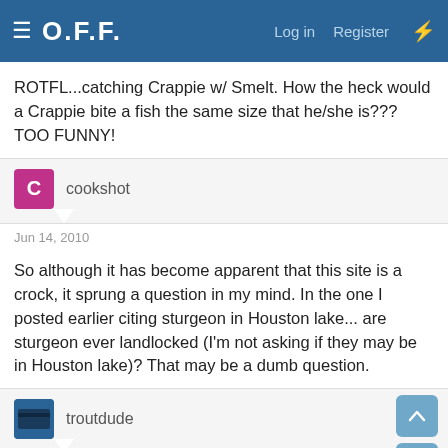O.F.F.  Log in  Register
ROTFL...catching Crappie w/ Smelt. How the heck would a Crappie bite a fish the same size that he/she is??? TOO FUNNY!
cookshot
Jun 14, 2010
So although it has become apparent that this site is a crock, it sprung a question in my mind. In the one I posted earlier citing sturgeon in Houston lake... are sturgeon ever landlocked (I'm not asking if they may be in Houston lake)? That may be a dumb question.
troutdude
Jun 14, 2010